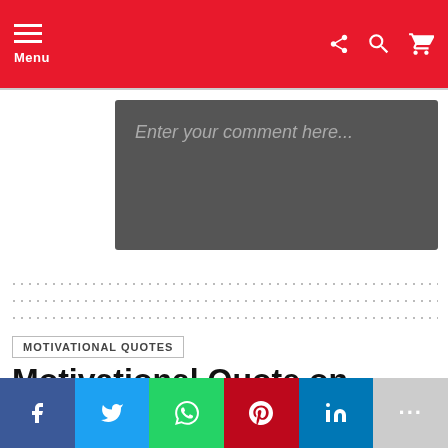Menu
[Figure (screenshot): Comment input box with placeholder text 'Enter your comment here...' on dark gray background]
[Figure (infographic): Dotted separator row]
MOTIVATIONAL QUOTES
Motivational Quote on GiveUp Good for Great
[Figure (infographic): Social sharing bar with Facebook, Twitter, WhatsApp, Pinterest, LinkedIn, and more buttons]